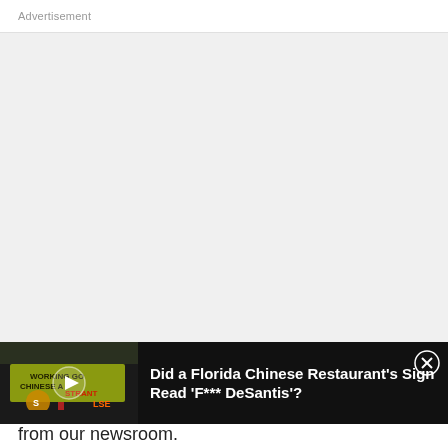Advertisement
[Figure (other): Gray advertisement placeholder box]
[Figure (screenshot): Video bar showing a thumbnail of a Chinese restaurant sign and title 'Did a Florida Chinese Restaurant's Sign Read 'F*** DeSantis'?']
from our newsroom.